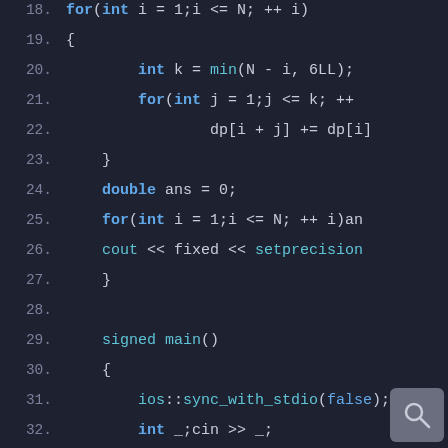[Figure (screenshot): Code editor screenshot showing lines 18-39 of a C++ program with syntax highlighting on a dark background (#1e2130). The code shows a nested for loop with dp array operations, a double variable, cout statements, a signed main() function with ios::sync_with_stdio(false), cin, a for loop with solve(), and return 0.]